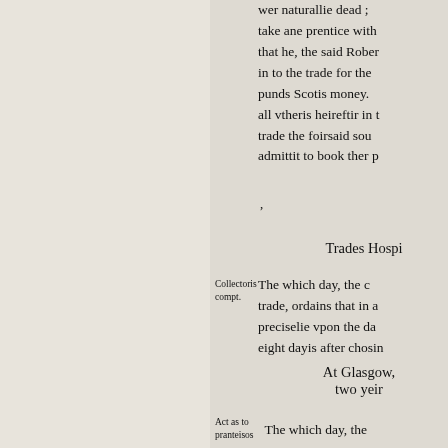wer naturallie dead ; take ane prentice with that he, the said Rober in to the trade for the punds Scotis money. all vtheris heireftir in t trade the foirsaid sou admittit to book ther p
Trades Hospi
Collectoris compt.
The which day, the c trade, ordains that in a preciselie vpon the da eight dayis after chosin
At Glasgow, two yeir
Act as to pranteisos
The which day, the